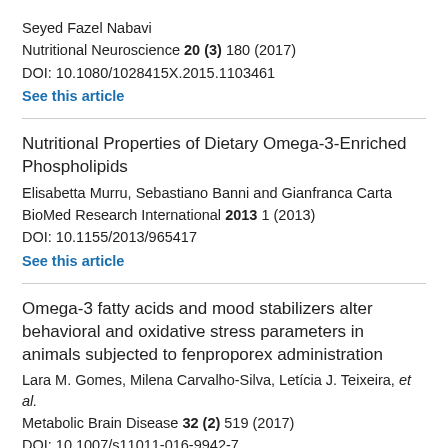Seyed Fazel Nabavi
Nutritional Neuroscience 20 (3) 180 (2017)
DOI: 10.1080/1028415X.2015.1103461
See this article
Nutritional Properties of Dietary Omega-3-Enriched Phospholipids
Elisabetta Murru, Sebastiano Banni and Gianfranca Carta
BioMed Research International 2013 1 (2013)
DOI: 10.1155/2013/965417
See this article
Omega-3 fatty acids and mood stabilizers alter behavioral and oxidative stress parameters in animals subjected to fenproporex administration
Lara M. Gomes, Milena Carvalho-Silva, Leticia J. Teixeira, et al.
Metabolic Brain Disease 32 (2) 519 (2017)
DOI: 10.1007/s11011-016-9942-7